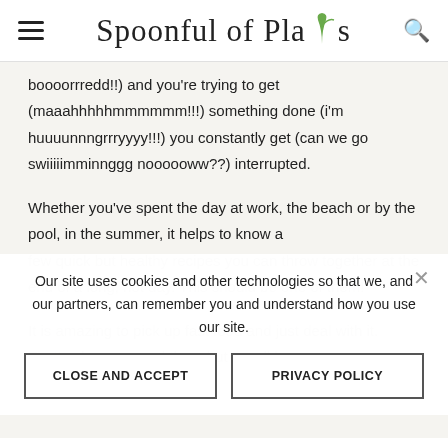Spoonful of Plants
boooorrredd!!) and you're trying to get (maaahhhhhmmmmmm!!!) something done (i'm huuuunnngrrryyyy!!!) you constantly get (can we go swiiiiimminnggg noooooww??) interrupted.
Whether you've spent the day at work, the beach or by the pool, in the summer, it helps to know a few quick but healthy recipes you can throw together at the end of a long, hot day. This should be one of them!
Our site uses cookies and other technologies so that we, and our partners, can remember you and understand how you use our site.
CLOSE AND ACCEPT
PRIVACY POLICY
It is amazing to pick up fast food and just deal with it. That's okay now and then, but we all know...